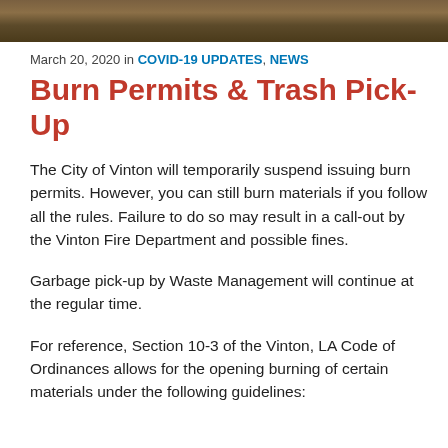[Figure (photo): Outdoor photo strip showing ground/nature scene at the top of the page]
March 20, 2020 in COVID-19 UPDATES, NEWS
Burn Permits & Trash Pick-Up
The City of Vinton will temporarily suspend issuing burn permits. However, you can still burn materials if you follow all the rules. Failure to do so may result in a call-out by the Vinton Fire Department and possible fines.
Garbage pick-up by Waste Management will continue at the regular time.
For reference, Section 10-3 of the Vinton, LA Code of Ordinances allows for the opening burning of certain materials under the following guidelines: